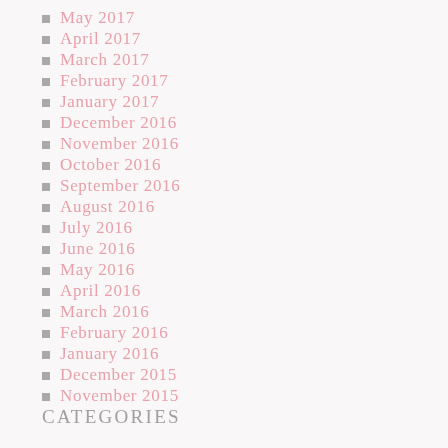May 2017
April 2017
March 2017
February 2017
January 2017
December 2016
November 2016
October 2016
September 2016
August 2016
July 2016
June 2016
May 2016
April 2016
March 2016
February 2016
January 2016
December 2015
November 2015
CATEGORIES